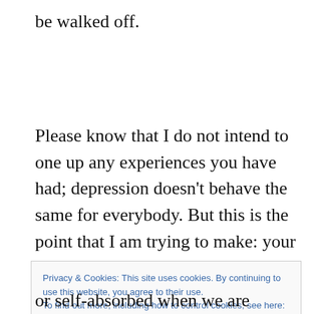be walked off.
Please know that I do not intend to one up any experiences you have had; depression doesn’t behave the same for everybody. But this is the point that I am trying to make: your experience is not universal. As you must be aware, there is a certain stigma that people who
Privacy & Cookies: This site uses cookies. By continuing to use this website, you agree to their use.
To find out more, including how to control cookies, see here: Cookie Policy
Close and accept
or self-absorbed when we are simply not as able as an